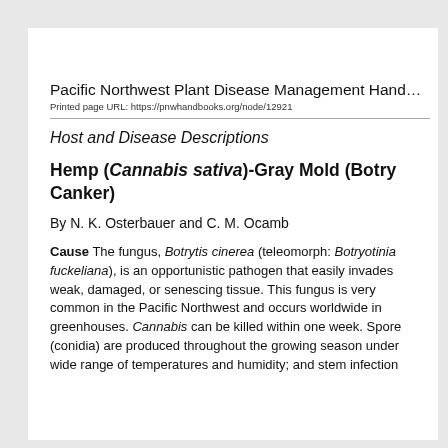Pacific Northwest Plant Disease Management Handbook
Printed page URL: https://pnwhandbooks.org/node/12921
Host and Disease Descriptions
Hemp (Cannabis sativa)-Gray Mold (Botrytis Canker)
By N. K. Osterbauer and C. M. Ocamb
Cause The fungus, Botrytis cinerea (teleomorph: Botryotinia fuckeliana), is an opportunistic pathogen that easily invades weak, damaged, or senescing tissue. This fungus is very common in the Pacific Northwest and occurs worldwide in greenhouses. Cannabis can be killed within one week. Spores (conidia) are produced throughout the growing season under a wide range of temperatures and humidity; and stem infections can lead to stem canre, occasionally killing the